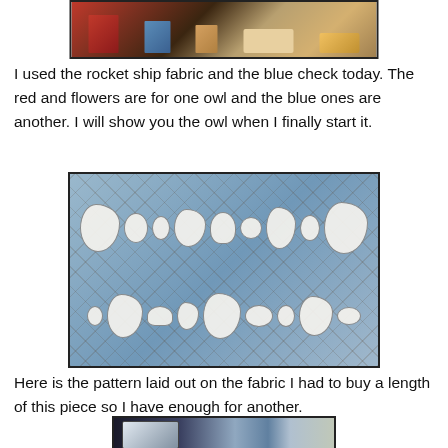[Figure (photo): Top portion of a photo showing colorful fabric swatches and materials on a wooden surface including red, blue check, and floral fabrics]
I used the rocket ship fabric and the blue check today. The red and flowers are for one owl and the blue ones are another. I will show you the owl when I finally start it.
[Figure (photo): Sewing pattern pieces laid out on blue argyle/diamond-patterned fabric on a table]
Here is the pattern laid out on the fabric I had to buy a length of this piece so I have enough for another.
[Figure (photo): Partial photo of a television screen showing a figure, with furniture visible in background]